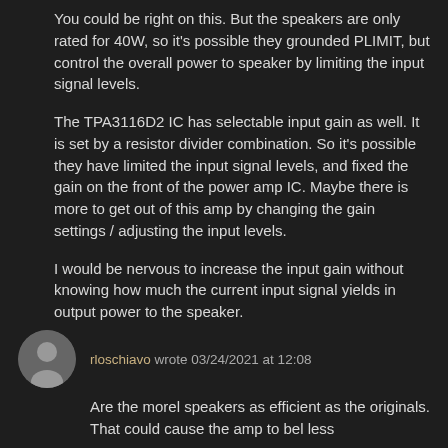You could be right on this. But the speakers are only rated for 40W, so it's possible they grounded PLIMIT, but control the overall power to speaker by limiting the input signal levels.
The TPA3116D2 IC has selectable input gain as well. It is set by a resistor divider combination. So it's possible they have limited the input signal levels, and fixed the gain on the front of the power amp IC. Maybe there is more to get out of this amp by changing the gain settings / adjusting the input levels.
I would be nervous to increase the input gain without knowing how much the current input signal yields in output power to the speaker.
rloschiavo wrote 03/24/2021 at 12:08
Are the morel speakers as efficient as the originals. That could cause the amp to bel less